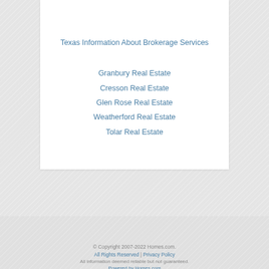Texas Information About Brokerage Services
Granbury Real Estate
Cresson Real Estate
Glen Rose Real Estate
Weatherford Real Estate
Tolar Real Estate
© Copyright 2007-2022 Homes.com. All Rights Reserved | Privacy Policy All information deemed reliable but not guaranteed. Powered by Homes.com